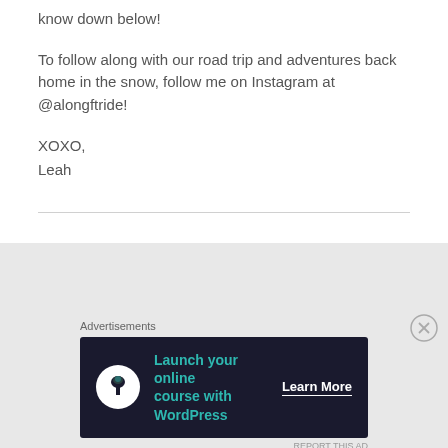know down below!
To follow along with our road trip and adventures back home in the snow, follow me on Instagram at @alongftride!
XOXO,
Leah
[Figure (other): Advertisement banner for WordPress online course with dark background, teal text reading 'Launch your online course with WordPress', a Learn More button, and a circular tree/person icon.]